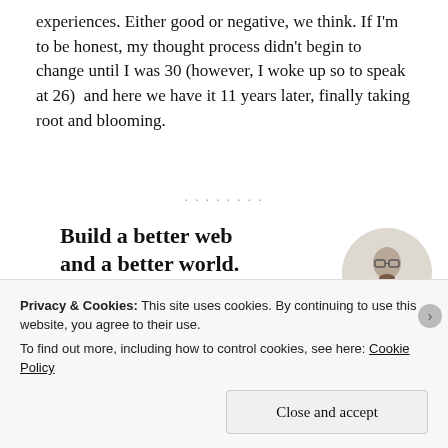experiences. Either good or negative, we think. If I'm to be honest, my thought process didn't begin to change until I was 30 (however, I woke up so to speak at 26)  and here we have it 11 years later, finally taking root and blooming.
[Figure (illustration): Partially visible decorative text or divider line with dots/dashes]
[Figure (infographic): Advertisement banner: 'Build a better web and a better world.' with an Apply button and a circular portrait photo of a man]
Privacy & Cookies: This site uses cookies. By continuing to use this website, you agree to their use.
To find out more, including how to control cookies, see here: Cookie Policy
Close and accept